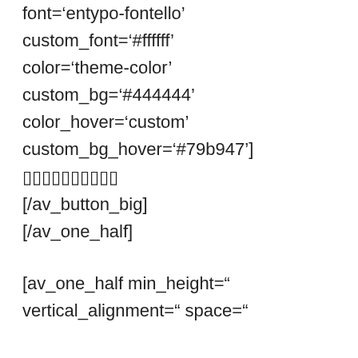font='entypo-fontello' custom_font='#ffffff' color='theme-color' custom_bg='#444444' color_hover='custom' custom_bg_hover='#79b947']            [/av_button_big] [/av_one_half]
[av_one_half min_height=" vertical_alignment=" space="